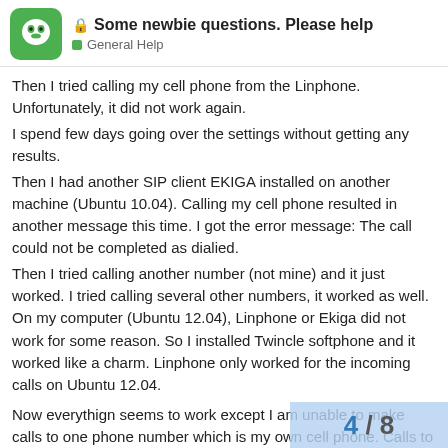Some newbie questions. Please help — General Help
Then I tried calling my cell phone from the Linphone. Unfortunately, it did not work again.
I spend few days going over the settings without getting any results.
Then I had another SIP client EKIGA installed on another machine (Ubuntu 10.04). Calling my cell phone resulted in another message this time. I got the error message: The call could not be completed as dialied.
Then I tried calling another number (not mine) and it just worked. I tried calling several other numbers, it worked as well. On my computer (Ubuntu 12.04), Linphone or Ekiga did not work for some reason. So I installed Twincle softphone and it worked like a charm. Linphone only worked for the incoming calls on Ubuntu 12.04.
Now everythign seems to work except I am unable to make calls to one phone number which is my own cell phone. Calls to the same provider (Reliance) works for other n
4 / 8